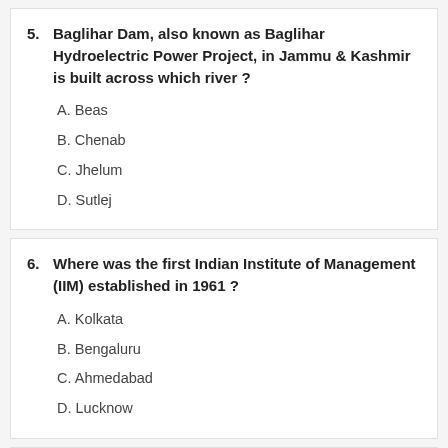5. Baglihar Dam, also known as Baglihar Hydroelectric Power Project, in Jammu & Kashmir is built across which river ?
A. Beas
B. Chenab
C. Jhelum
D. Sutlej
6. Where was the first Indian Institute of Management (IIM) established in 1961 ?
A. Kolkata
B. Bengaluru
C. Ahmedabad
D. Lucknow
7. On 28 May 2008, the Indian Air Force attained the Airborne Warning And Control System (AWACS) capability by procuring the Phalcon radar (mounted on Russian-based IL 76) from which country ?